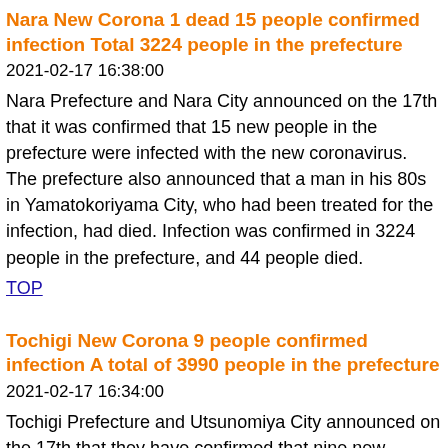Nara New Corona 1 dead 15 people confirmed infection Total 3224 people in the prefecture
2021-02-17 16:38:00
Nara Prefecture and Nara City announced on the 17th that it was confirmed that 15 new people in the prefecture were infected with the new coronavirus. The prefecture also announced that a man in his 80s in Yamatokoriyama City, who had been treated for the infection, had died. Infection was confirmed in 3224 people in the prefecture, and 44 people died.
TOP
Tochigi New Corona 9 people confirmed infection A total of 3990 people in the prefecture
2021-02-17 16:34:00
Tochigi Prefecture and Utsunomiya City announced on the 17th that they have confirmed that nine new people are infected with the new coronavirus. This brings the total number